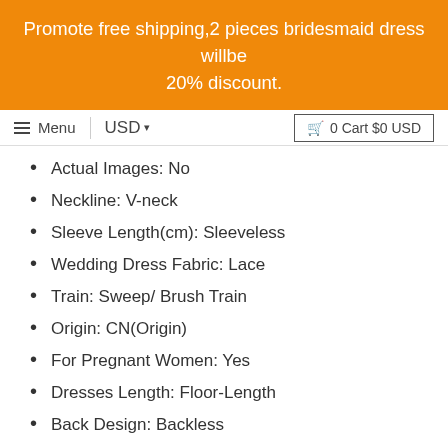Promote free shipping,2 pieces bridesmaid dress willbe 20% discount.
Menu | USD ▾   🛒 0 Cart $0 USD
Actual Images: No
Neckline: V-neck
Sleeve Length(cm): Sleeveless
Wedding Dress Fabric: Lace
Train: Sweep/ Brush Train
Origin: CN(Origin)
For Pregnant Women: Yes
Dresses Length: Floor-Length
Back Design: Backless
Item Type: Wedding Dresses
Sleeve Style: Sleeveless
Built-in Bra: Yes
is  customized: Yes